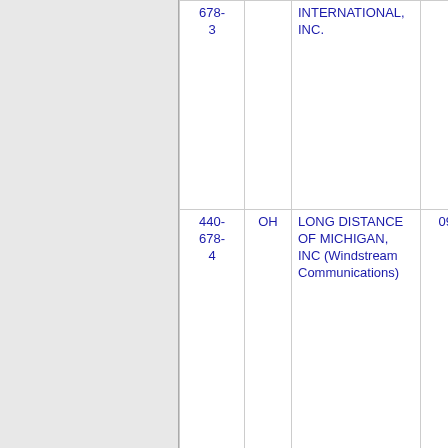| Number | State | Name | Code |
| --- | --- | --- | --- |
| 678-3 |  | INTERNATIONAL, INC. |  |
| 440-678-4 | OH | LONG DISTANCE OF MICHIGAN, INC (Windstream Communications) | 0977 |
| 440-678- | OH | ONVOY SPECTRUM, LLC (Inteliquent) | 624H |